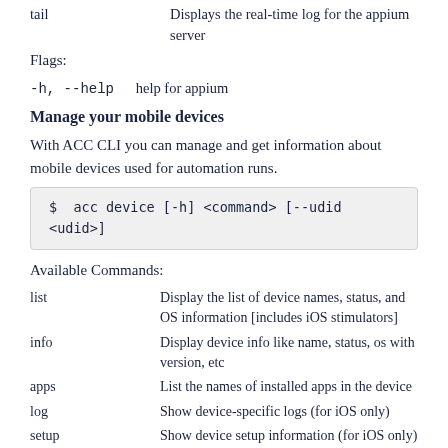| tail | Displays the real-time log for the appium server |
Flags:
-h, --help      help for appium
Manage your mobile devices
With ACC CLI you can manage and get information about mobile devices used for automation runs.
$ acc device [-h] <command> [--udid <udid>]
Available Commands:
| list | Display the list of device names, status, and OS information [includes iOS stimulators] |
| info | Display device info like name, status, os with version, etc |
| apps | List the names of installed apps in the device |
| log | Show device-specific logs (for iOS only) |
| setup | Show device setup information (for iOS only) |
Flags: